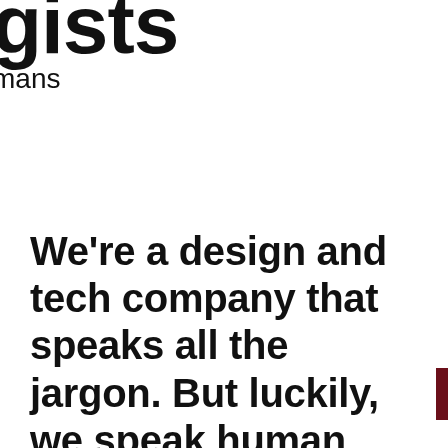gists
mans
We're a design and tech company that speaks all the jargon. But luckily, we speak human too. We design, we write code, and we love the business side